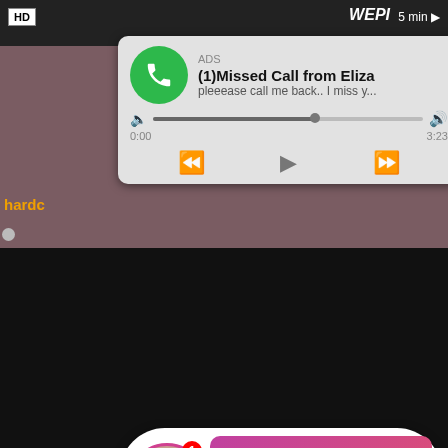[Figure (screenshot): Top video thumbnail strip with HD badge, WEPI watermark, 5 min label on dark background]
[Figure (screenshot): Fake phone missed call ad notification: ADS label, (1)Missed Call from Eliza, pleeease call me back.. I miss y..., green phone icon, audio progress bar at 0:00 / 3:23, playback controls (rewind, play, fast-forward)]
hard
[Figure (screenshot): Main video thumbnail (dark background). Overlaid fake social app notification with avatar, LIVE badge, notification badge '1', ADS label, 'Jeniffer 2000', '(00:12)🔔', pink gradient background. HD badge bottom-left, PT69 watermark, 7min label.]
Petite Pussy Rammed Teen Hardcore Big-cock
teen, hardcore, big cock, pure18, cock suck, sexy sluts, c...
[Figure (screenshot): Bottom video thumbnail strip, partially visible]